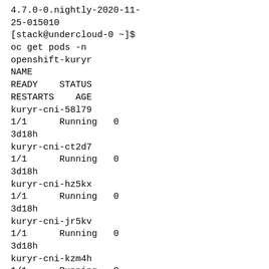4.7.0-0.nightly-2020-11-25-015010
[stack@undercloud-0 ~]$
oc get pods -n openshift-kuryr
NAME
READY    STATUS    RESTARTS    AGE
kuryr-cni-58l79
1/1      Running   0           3d18h
kuryr-cni-ct2d7
1/1      Running   0           3d18h
kuryr-cni-hz5kx
1/1      Running   0           3d18h
kuryr-cni-jr5kv
1/1      Running   0           3d18h
kuryr-cni-kzm4h
1/1      Running   0           3d18h
kuryr-cni-l4s5m
1/1      Running   0           3d18h
kuryr-controller-5bcb56996c-d8hz9   1/1      Running   0           3d18h